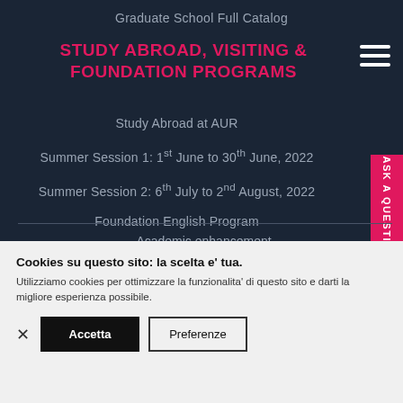Graduate School Full Catalog
STUDY ABROAD, VISITING & FOUNDATION PROGRAMS
Study Abroad at AUR
Summer Session 1: 1st June to 30th June, 2022
Summer Session 2: 6th July to 2nd August, 2022
Foundation English Program
Corso di Inglese Accademico
Academic enhancement
Cookies su questo sito: la scelta e' tua. Utilizziamo cookies per ottimizzare la funzionalita' di questo sito e darti la migliore esperienza possibile.
Accetta
Preferenze